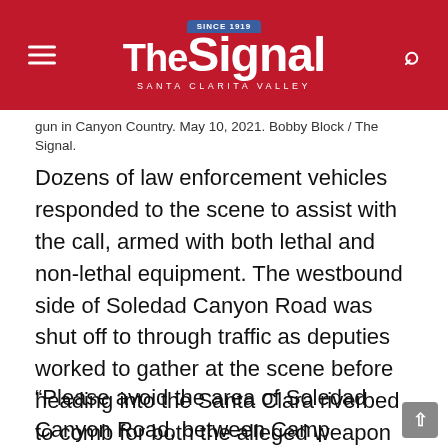The Signal — Santa Clarita Valley (since 1919)
gun in Canyon Country. May 10, 2021. Bobby Block / The Signal.
Dozens of law enforcement vehicles responded to the scene to assist with the call, armed with both lethal and non-lethal equipment. The westbound side of Soledad Canyon Road was shut off to through traffic as deputies worked to gather at the scene before heading into the Santa Clara riverbed to comb for both the alleged weapon and suspect.
“Please avoid the area of Soledad Canyon Road, between Camp Plenty Road and Langside Avenue in